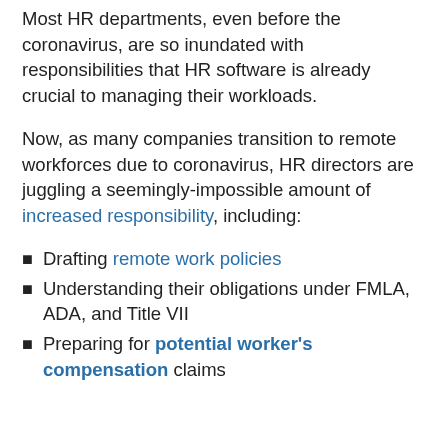Most HR departments, even before the coronavirus, are so inundated with responsibilities that HR software is already crucial to managing their workloads.
Now, as many companies transition to remote workforces due to coronavirus, HR directors are juggling a seemingly-impossible amount of increased responsibility, including:
Drafting remote work policies
Understanding their obligations under FMLA, ADA, and Title VII
Preparing for potential worker's compensation claims